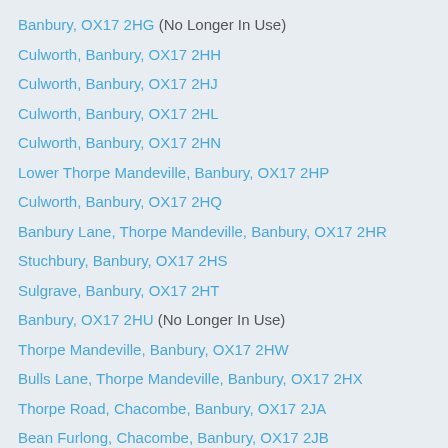Banbury, OX17 2HG (No Longer In Use)
Culworth, Banbury, OX17 2HH
Culworth, Banbury, OX17 2HJ
Culworth, Banbury, OX17 2HL
Culworth, Banbury, OX17 2HN
Lower Thorpe Mandeville, Banbury, OX17 2HP
Culworth, Banbury, OX17 2HQ
Banbury Lane, Thorpe Mandeville, Banbury, OX17 2HR
Stuchbury, Banbury, OX17 2HS
Sulgrave, Banbury, OX17 2HT
Banbury, OX17 2HU (No Longer In Use)
Thorpe Mandeville, Banbury, OX17 2HW
Bulls Lane, Thorpe Mandeville, Banbury, OX17 2HX
Thorpe Road, Chacombe, Banbury, OX17 2JA
Bean Furlong, Chacombe, Banbury, OX17 2JB